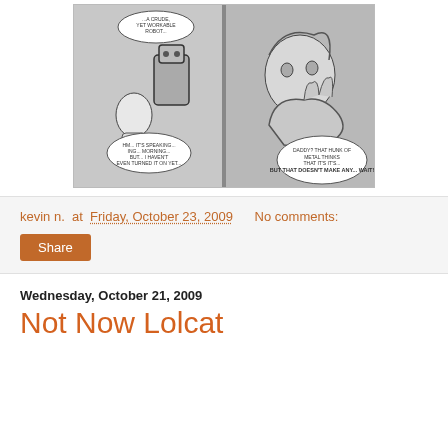[Figure (illustration): Black and white comic book panels showing a scientist with a robot and a man looking shocked, with speech bubbles including text about synthetic life and metal things.]
kevin n. at Friday, October 23, 2009    No comments:
Share
Wednesday, October 21, 2009
Not Now Lolcat